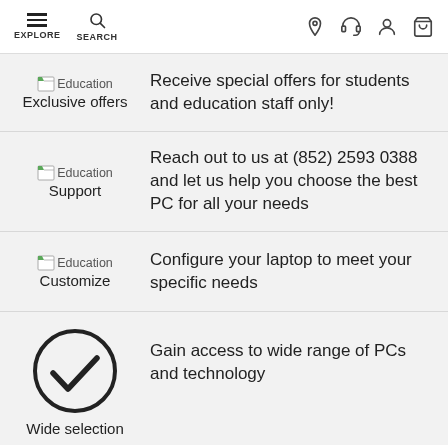EXPLORE | SEARCH | (location icon) | (headset icon) | (account icon) | (cart icon)
Education Exclusive offers — Receive special offers for students and education staff only!
Education Support — Reach out to us at (852) 2593 0388 and let us help you choose the best PC for all your needs
Education Customize — Configure your laptop to meet your specific needs
Wide selection — Gain access to wide range of PCs and technology